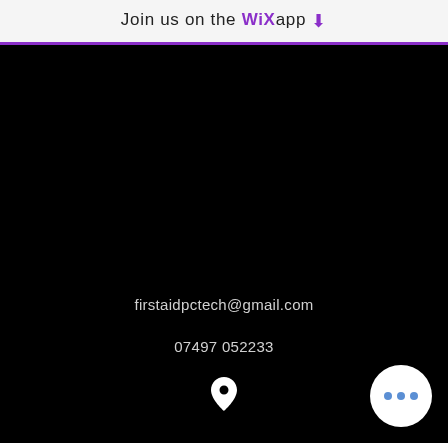Join us on the WiX app ⬇
[Figure (screenshot): Black background section of a website/app screenshot showing contact information and a map pin icon]
firstaidpctech@gmail.com
07497 052233